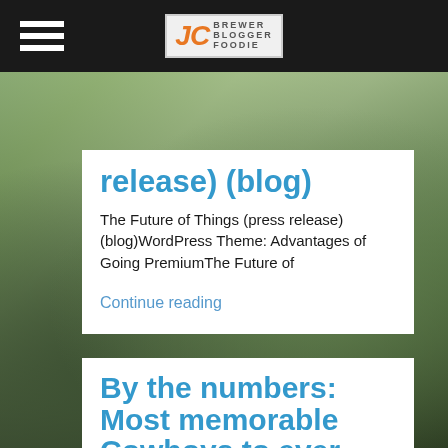[Figure (logo): JC Brewer Blogger Foodie logo — orange italic JC initials with stacked text BREWER / BLOGGER / FOODIE in grey]
release) (blog)
The Future of Things (press release) (blog)WordPress Theme: Advantages of Going PremiumThe Future of
Continue reading
By the numbers: Most memorable Cowboys to ever wear #71-80 –